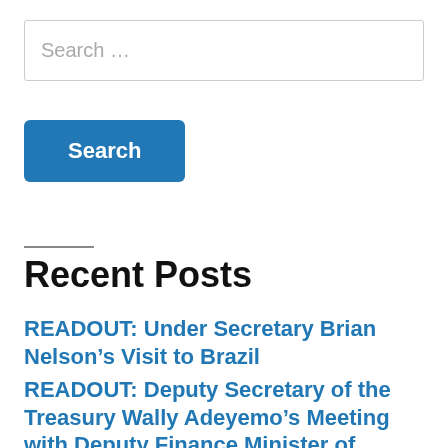Search …
Search
Recent Posts
READOUT: Under Secretary Brian Nelson's Visit to Brazil
READOUT: Deputy Secretary of the Treasury Wally Adeyemo's Meeting with Deputy Finance Minister of Türkiye Yunus Elitas